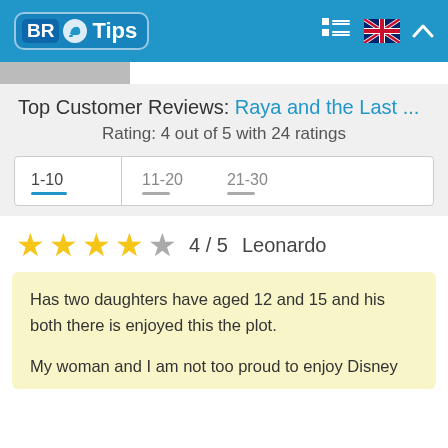BR Tips
Top Customer Reviews: Raya and the Last ...
Rating: 4 out of 5 with 24 ratings
| 1-10 | 11-20 | 21-30 |
| --- | --- | --- |
4 / 5   Leonardo
Has two daughters have aged 12 and 15 and his both there is enjoyed this the plot.

My woman and I am not too proud to enjoy Disney